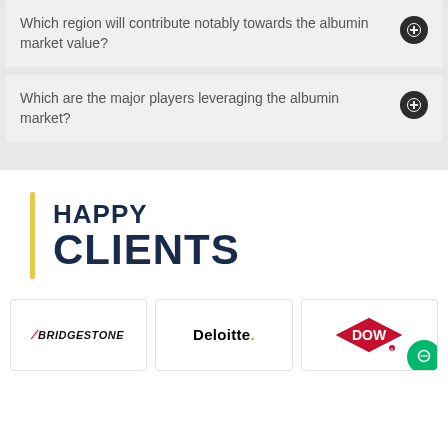Which region will contribute notably towards the albumin market value?
Which are the major players leveraging the albumin market?
HAPPY CLIENTS
[Figure (logo): Bridgestone logo]
[Figure (logo): Deloitte logo]
[Figure (logo): DOW logo]